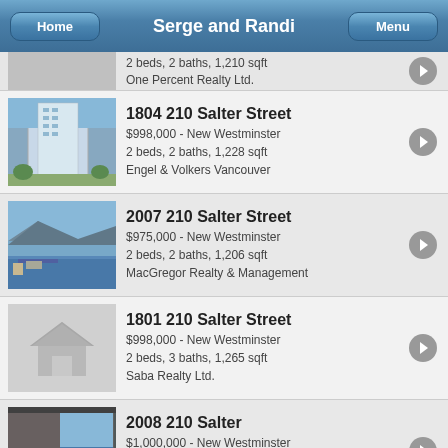Serge and Randi
2 beds, 2 baths, 1,210 sqft
One Percent Realty Ltd.
1804 210 Salter Street
$998,000 - New Westminster
2 beds, 2 baths, 1,228 sqft
Engel & Volkers Vancouver
2007 210 Salter Street
$975,000 - New Westminster
2 beds, 2 baths, 1,206 sqft
MacGregor Realty & Management
1801 210 Salter Street
$998,000 - New Westminster
2 beds, 3 baths, 1,265 sqft
Saba Realty Ltd.
2008 210 Salter
$1,000,000 - New Westminster
2 beds, 2 baths, 1,097 sqft
MacGregor Realty & Management
506 8 Laguna Court
$899,900 - New Westminster
2 beds, 2 baths, 1,700 sqft